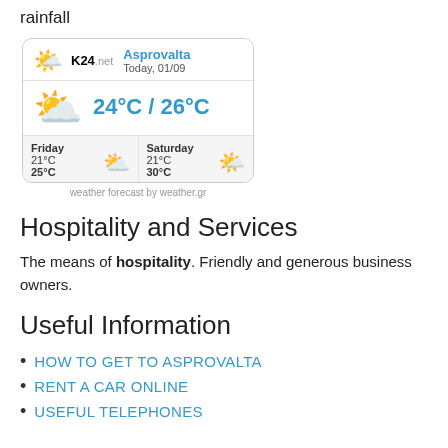rainfall
[Figure (infographic): Weather widget from K24.net showing weather for Asprovalta. Today 01/09: 24°C / 26°C with partly cloudy icon. Friday: 21°C / 25°C partly cloudy. Saturday: 21°C / 30°C sunny. Caption: weather forecast by weather.gr]
weather forecast by weather.gr
Hospitality and Services
The means of hospitality. Friendly and generous business owners.
Useful Information
HOW TO GET TO ASPROVALTA
RENT A CAR ONLINE
USEFUL TELEPHONES